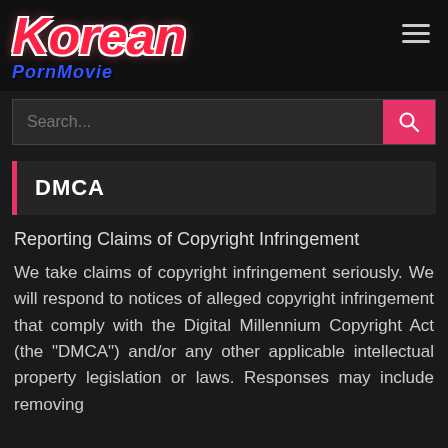[Figure (logo): Korean PornMovie website logo — large italic red text 'Korean' with white outline and pink glow, subtitle 'PornMovie' in bold italic blue text]
≡ (hamburger menu icon)
Search...
DMCA
Reporting Claims of Copyright Infringement
We take claims of copyright infringement seriously. We will respond to notices of alleged copyright infringement that comply with the Digital Millennium Copyright Act (the "DMCA") and/or any other applicable intellectual property legislation or laws. Responses may include removing